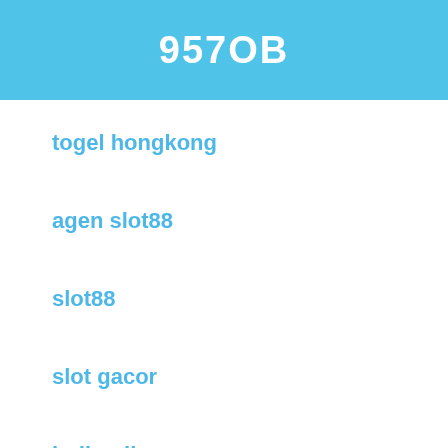957OB
togel hongkong
agen slot88
slot88
slot gacor
judi online
situs judi online